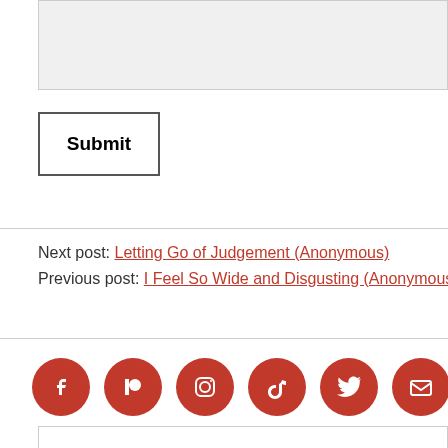[Figure (screenshot): Gray textarea input field stub at top of page]
Submit
Next post: Letting Go of Judgement (Anonymous)
Previous post: I Feel So Wide and Disgusting (Anonymous)
[Figure (infographic): Row of six red circular social media icons: Facebook, Patreon, Instagram, TikTok, Twitter, Email]
[Figure (screenshot): Bottom textarea input field stub]